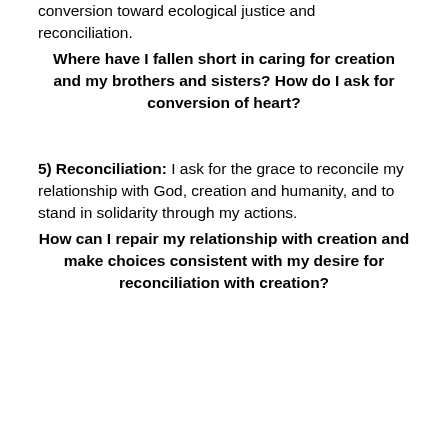conversion toward ecological justice and reconciliation. Where have I fallen short in caring for creation and my brothers and sisters? How do I ask for conversion of heart?
5) Reconciliation: I ask for the grace to reconcile my relationship with God, creation and humanity, and to stand in solidarity through my actions. How can I repair my relationship with creation and make choices consistent with my desire for reconciliation with creation?